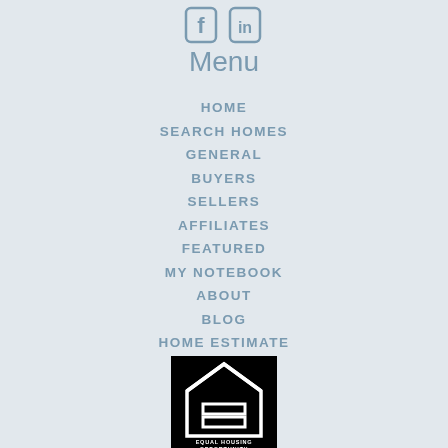[Figure (logo): Social media icons: Facebook and LinkedIn]
Menu
HOME
SEARCH HOMES
GENERAL
BUYERS
SELLERS
AFFILIATES
FEATURED
MY NOTEBOOK
ABOUT
BLOG
HOME ESTIMATE
[Figure (logo): Equal Housing Opportunity logo — black square with white house icon and text EQUAL HOUSING OPPORTUNITY]